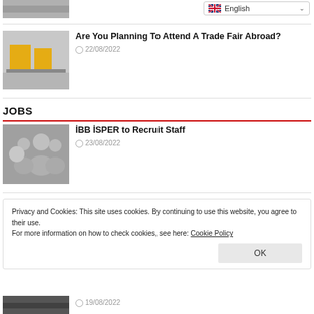[Figure (screenshot): Partial top image of a trade fair booth, partially cropped]
English (language selector dropdown)
[Figure (photo): Photo of a trade fair booth with yellow modular display stands]
Are You Planning To Attend A Trade Fair Abroad?
22/08/2022
JOBS
[Figure (photo): Photo of people in a job interview or meeting setting, seen from behind]
İBB İSPER to Recruit Staff
23/08/2022
Privacy and Cookies: This site uses cookies. By continuing to use this website, you agree to their use.
For more information on how to check cookies, see here: Cookie Policy
OK
[Figure (photo): Partial photo at the bottom, partially cropped]